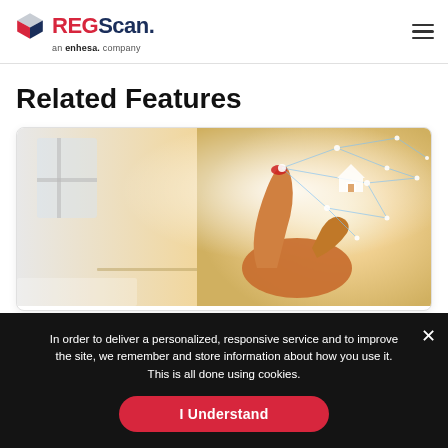[Figure (logo): REGScan logo — a 3D cube icon in red/blue/grey, text 'REGScan.' in red and navy, tagline 'an enhesa. company']
Related Features
[Figure (photo): A hand pointing at a glowing digital network overlay with a small house icon, on a bright background — technology/real estate concept image]
In order to deliver a personalized, responsive service and to improve the site, we remember and store information about how you use it. This is all done using cookies.
I Understand